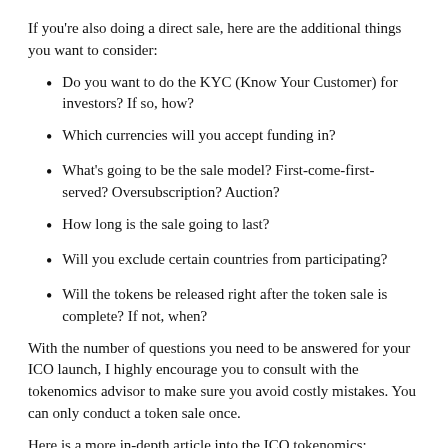If you're also doing a direct sale, here are the additional things you want to consider:
Do you want to do the KYC (Know Your Customer) for investors? If so, how?
Which currencies will you accept funding in?
What's going to be the sale model? First-come-first-served? Oversubscription? Auction?
How long is the sale going to last?
Will you exclude certain countries from participating?
Will the tokens be released right after the token sale is complete? If not, when?
With the number of questions you need to be answered for your ICO launch, I highly encourage you to consult with the tokenomics advisor to make sure you avoid costly mistakes. You can only conduct a token sale once.
Here is a more in-depth article into the ICO tokenomics: